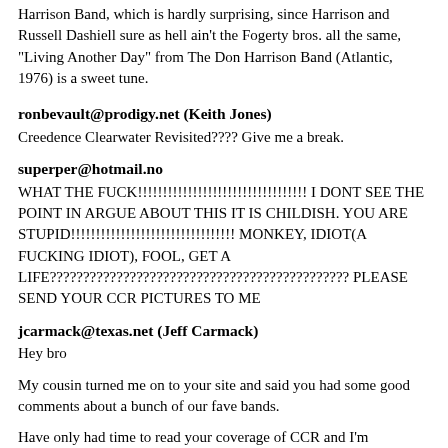Harrison Band, which is hardly surprising, since Harrison and Russell Dashiell sure as hell ain't the Fogerty bros. all the same, "Living Another Day" from The Don Harrison Band (Atlantic, 1976) is a sweet tune.
ronbevault@prodigy.net (Keith Jones)
Creedence Clearwater Revisited???? Give me a break.
superper@hotmail.no
WHAT THE FUCK!!!!!!!!!!!!!!!!!!!!!!!!!!!!!!!!!! I DONT SEE THE POINT IN ARGUE ABOUT THIS IT IS CHILDISH. YOU ARE STUPID!!!!!!!!!!!!!!!!!!!!!!!!!!!!!!!!! MONKEY, IDIOT(A FUCKING IDIOT), FOOL, GET A LIFE????????????????????????????????????????????? PLEASE SEND YOUR CCR PICTURES TO ME
jcarmack@texas.net (Jeff Carmack)
Hey bro
My cousin turned me on to your site and said you had some good comments about a bunch of our fave bands.
Have only had time to read your coverage of CCR and I'm impressed. I take it from some of your comments ("My generation refuses to acknowledge the genius of CCR.") that